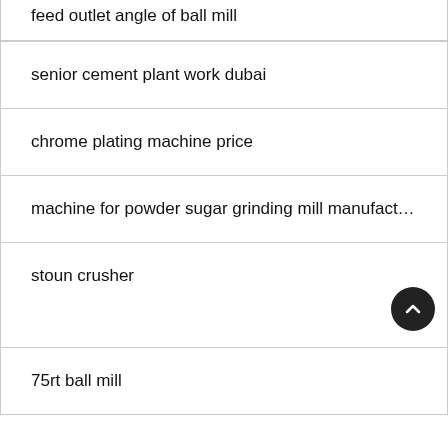feed outlet angle of ball mill
senior cement plant work dubai
chrome plating machine price
machine for powder sugar grinding mill manufact…
stoun crusher
75rt ball mill